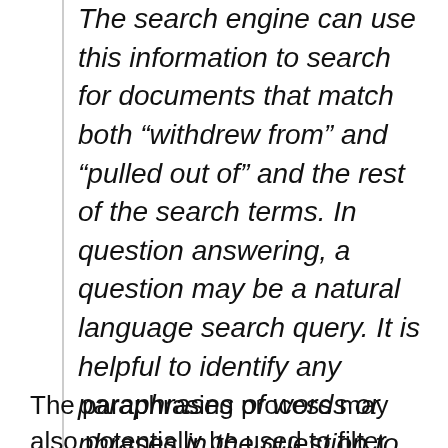The search engine can use this information to search for documents that match both “withdrewfrom” and “pulled out of” and the rest of the search terms. In question answering, a question may be a natural language search query. It is helpful to identify any paraphrases of words or phrases in the question to identify the answer more fully.
The paraphrasing process may also potentially be used to filter some pages out